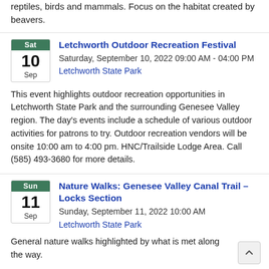reptiles, birds and mammals. Focus on the habitat created by beavers.
Letchworth Outdoor Recreation Festival
Saturday, September 10, 2022 09:00 AM - 04:00 PM
Letchworth State Park
This event highlights outdoor recreation opportunities in Letchworth State Park and the surrounding Genesee Valley region. The day's events include a schedule of various outdoor activities for patrons to try. Outdoor recreation vendors will be onsite 10:00 am to 4:00 pm. HNC/Trailside Lodge Area. Call (585) 493-3680 for more details.
Nature Walks: Genesee Valley Canal Trail – Locks Section
Sunday, September 11, 2022 10:00 AM
Letchworth State Park
General nature walks highlighted by what is met along the way.